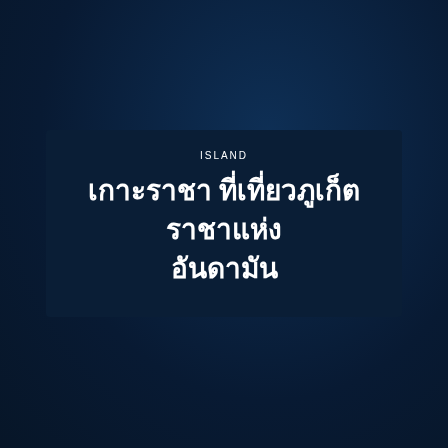ISLAND
เกาะราชา ที่เที่ยวภูเก็ต ราชาแห่งอันดามัน